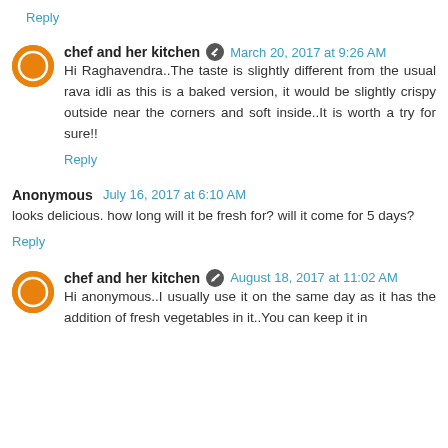Reply
chef and her kitchen  March 20, 2017 at 9:26 AM
Hi Raghavendra..The taste is slightly different from the usual rava idli as this is a baked version, it would be slightly crispy outside near the corners and soft inside..It is worth a try for sure!!
Reply
Anonymous  July 16, 2017 at 6:10 AM
looks delicious. how long will it be fresh for? will it come for 5 days?
Reply
chef and her kitchen  August 18, 2017 at 11:02 AM
Hi anonymous..I usually use it on the same day as it has the addition of fresh vegetables in it..You can keep it in